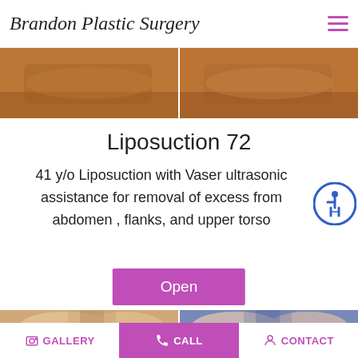Brandon Plastic Surgery
[Figure (photo): Before/after liposuction abdomen photos – two side-by-side cropped images showing midsection skin tone]
Liposuction 72
41 y/o Liposuction with Vaser ultrasonic assistance for removal of excess from abdomen , flanks, and upper torso
[Figure (other): Accessibility icon – blue circle with wheelchair person symbol]
Open
[Figure (photo): Before/after breast procedure photos – two side-by-side images]
GALLERY   CALL   CONTACT